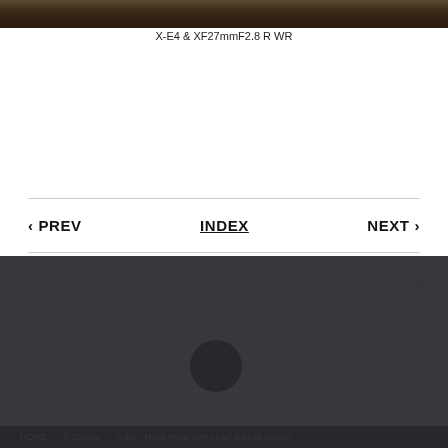[Figure (photo): Dark nature/forest photo strip at top of page]
X-E4 & XF27mmF2.8 R WR
‹ PREV   INDEX   NEXT ›
Verwendung von Cookies ×
Diese Website verwendet Cookies. Durch die Nutzung der Website stimmen Sie unseren Datenschutzerklärung
HOME › X Stories › X-E4: "Make More with Less" x Alina Jaeger